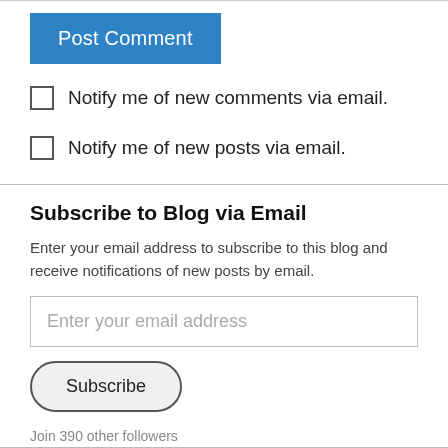[Figure (other): Post Comment button - blue rectangle button with white text]
Notify me of new comments via email.
Notify me of new posts via email.
Subscribe to Blog via Email
Enter your email address to subscribe to this blog and receive notifications of new posts by email.
[Figure (other): Email input field with placeholder text 'Enter your email address']
[Figure (other): Subscribe button - rounded pill-shaped button]
Join 390 other followers